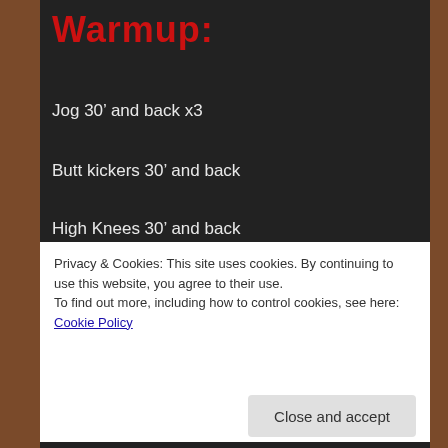Warmup:
Jog 30’ and back x3
Butt kickers 30’ and back
High Knees 30’ and back
Side shuffle 30’ and back
Spider-Man Lunge 30’
Inchworm 30’
Privacy & Cookies: This site uses cookies. By continuing to use this website, you agree to their use.
To find out more, including how to control cookies, see here: Cookie Policy
Close and accept
Super Squat Hip Sequence – see video below, courtesy of Mobility WOD